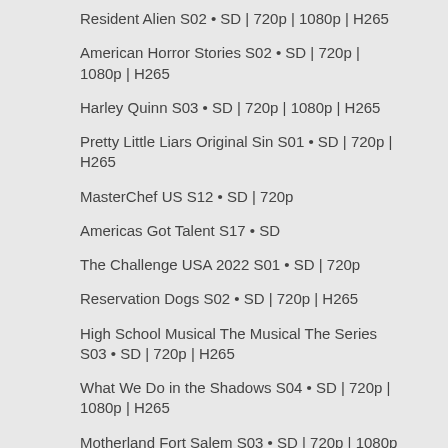Resident Alien S02 • SD | 720p | 1080p | H265
American Horror Stories S02 • SD | 720p | 1080p | H265
Harley Quinn S03 • SD | 720p | 1080p | H265
Pretty Little Liars Original Sin S01 • SD | 720p | H265
MasterChef US S12 • SD | 720p
Americas Got Talent S17 • SD
The Challenge USA 2022 S01 • SD | 720p
Reservation Dogs S02 • SD | 720p | H265
High School Musical The Musical The Series S03 • SD | 720p | H265
What We Do in the Shadows S04 • SD | 720p | 1080p | H265
Motherland Fort Salem S03 • SD | 720p | 1080p